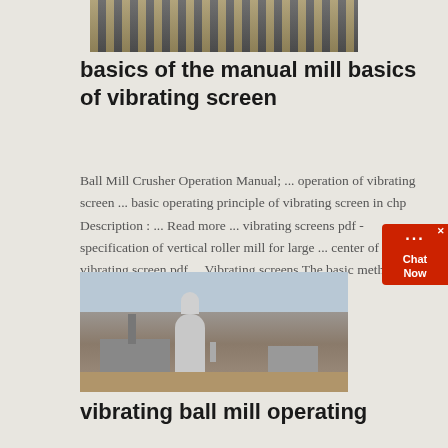[Figure (photo): Top partial image showing yellow and black striped barriers or machinery in an industrial/construction setting]
basics of the manual mill basics of vibrating screen
Ball Mill Crusher Operation Manual; ... operation of vibrating screen ... basic operating principle of vibrating screen in chp Description : ... Read more ... vibrating screens pdf - specification of vertical roller mill for large ... center of vibrating screen pdf ... Vibrating screens The basic method of operation of a ...get price
[Figure (photo): Industrial facility showing a large silo or vertical roller mill structure with surrounding buildings and equipment on a dirt yard]
vibrating ball mill operating